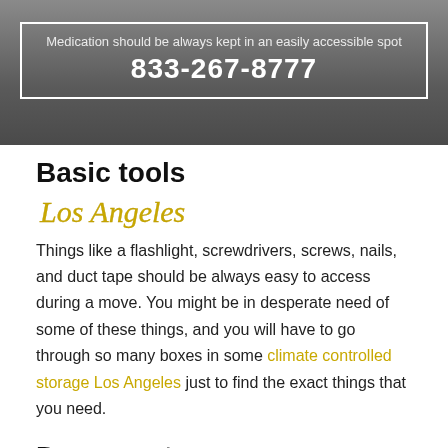[Figure (photo): Photo banner of a person, partially visible at top, with overlaid caption text and phone number]
Medication should be always kept in an easily accessible spot
833-267-8777
Basic tools
[Figure (illustration): Los Angeles script/logo in gold cursive style]
Things like a flashlight, screwdrivers, screws, nails, and duct tape should be always easy to access during a move. You might be in desperate need of some of these things, and you will have to go through so many boxes in some climate controlled storage Los Angeles just to find the exact things that you need.
Documents
You probably won't pack your ID or your driver's license, but you might think about packing your contract with the movers, inventory list, or the map of the new area. These things don't take up too much space, so you can easily keep